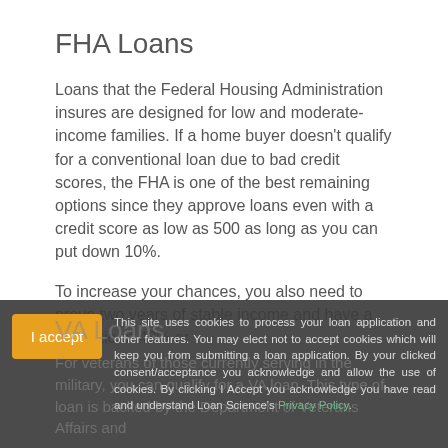FHA Loans
Loans that the Federal Housing Administration insures are designed for low and moderate-income families. If a home buyer doesn't qualify for a conventional loan due to bad credit scores, the FHA is one of the best remaining options since they approve loans even with a credit score as low as 500 as long as you can put down 10%.
To increase your chances, you also need to prove two years of stable income and have a DTI ratio of 43% or
VA Loans
For veterans of those currently serving in the military, you can qualify for a VA loan. This type of loan is backed by the Department of Veterans Affairs and
This site uses cookies to process your loan application and other features. You may elect not to accept cookies which will keep you from submitting a loan application. By your clicked consent/acceptance you acknowledge and allow the use of cookies. By clicking I Accept you acknowledge you have read and understand Loan Science's Privacy Policy.